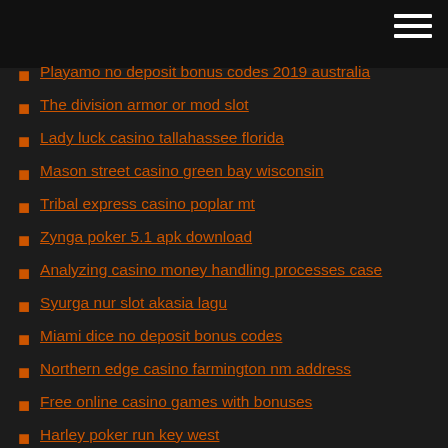Playamo no deposit bonus codes 2019 australia
The division armor or mod slot
Lady luck casino tallahassee florida
Mason street casino green bay wisconsin
Tribal express casino poplar mt
Zynga poker 5.1 apk download
Analyzing casino money handling processes case
Syurga nur slot akasia lagu
Miami dice no deposit bonus codes
Northern edge casino farmington nm address
Free online casino games with bonuses
Harley poker run key west
Online texas holdem poker sites